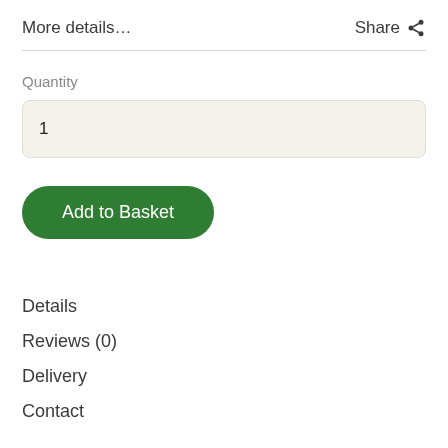More details…
Share
Quantity
1
Add to Basket
Details
Reviews (0)
Delivery
Contact